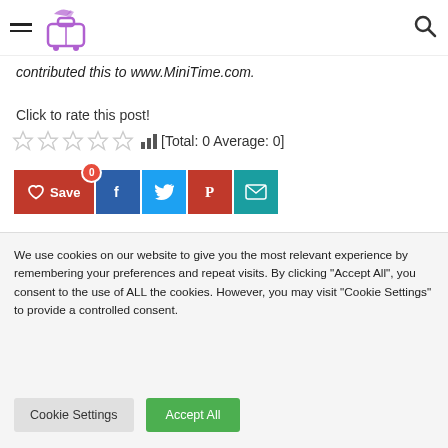[MiniTime logo and navigation header with hamburger menu and search icon]
contributed this to www.MiniTime.com.
Click to rate this post!
[Total: 0 Average: 0]
[Figure (other): Social sharing buttons: Save (heart icon, red), Facebook (blue), Twitter (light blue), Pinterest (red), Email (teal)]
We use cookies on our website to give you the most relevant experience by remembering your preferences and repeat visits. By clicking "Accept All", you consent to the use of ALL the cookies. However, you may visit "Cookie Settings" to provide a controlled consent.
Cookie Settings  Accept All